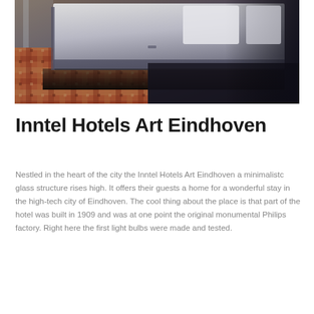[Figure (photo): Hotel room interior showing a bed with white linens and a plaid/tartan carpet in orange and brown tones. The room has dark walls and the photo is taken from a low angle.]
Inntel Hotels Art Eindhoven
Nestled in the heart of the city the Inntel Hotels Art Eindhoven a minimalistc glass structure rises high. It offers their guests a home for a wonderful stay in the high-tech city of Eindhoven. The cool thing about the place is that part of the hotel was built in 1909 and was at one point the original monumental Philips factory. Right here the first light bulbs were made and tested.